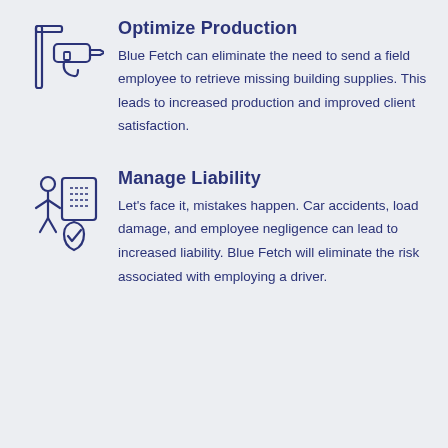[Figure (illustration): Icon of a power drill / construction tool in outline style, dark blue color]
Optimize Production
Blue Fetch can eliminate the need to send a field employee to retrieve missing building supplies. This leads to increased production and improved client satisfaction.
[Figure (illustration): Icon of a person standing next to a checklist/clipboard with a shield and checkmark, dark blue outline style]
Manage Liability
Let's face it, mistakes happen. Car accidents, load damage, and employee negligence can lead to increased liability. Blue Fetch will eliminate the risk associated with employing a driver.